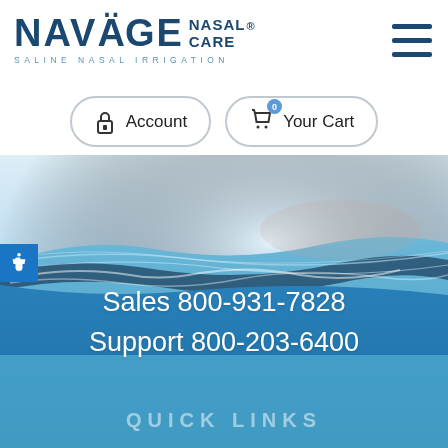[Figure (logo): Navage Nasal Care logo with text 'NAVÄGE NASAL CARE' and subtitle 'SALINE NASAL IRRIGATION']
[Figure (other): Hamburger menu icon (three horizontal lines) in dark blue]
Account
0  Your Cart
[Figure (photo): Close-up photo of water surface with blue ripples and waves]
Sales 800-931-7828
Support 800-203-6400
QUICK LINKS